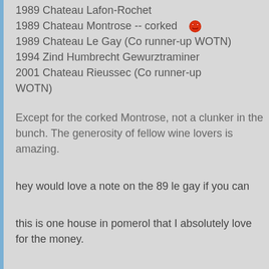1989 Chateau Lafon-Rochet
1989 Chateau Montrose -- corked 😠
1989 Chateau Le Gay (Co runner-up WOTN)
1994 Zind Humbrecht Gewurztraminer
2001 Chateau Rieussec (Co runner-up WOTN)
Except for the corked Montrose, not a clunker in the bunch. The generosity of fellow wine lovers is amazing.
hey would love a note on the 89 le gay if you can
this is one house in pomerol that I absolutely love for the money.